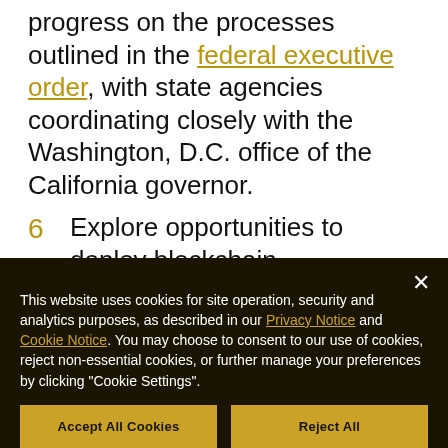progress on the processes outlined in the federal executive order, with state agencies coordinating closely with the Washington, D.C. office of the California governor.
6  Explore opportunities to deploy blockchain technologies to address public-serving and emerging needs, working with the private sector, academia, and community to present pilots for innovative policies, programs, and solutions that
This website uses cookies for site operation, security and analytics purposes, as described in our Privacy Notice and Cookie Notice. You may choose to consent to our use of cookies, reject non-essential cookies, or further manage your preferences by clicking "Cookie Settings".
Accept All Cookies
Reject All